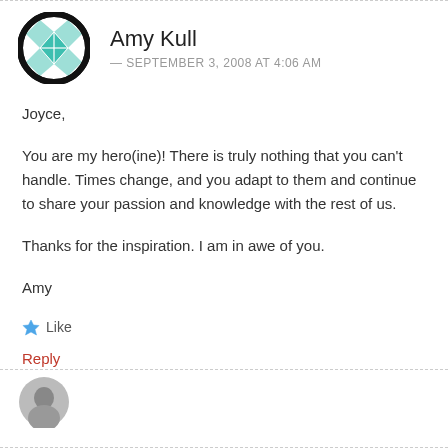[Figure (illustration): Avatar icon with a teal/green diamond quilt pattern inside a thick black circle border]
Amy Kull
— SEPTEMBER 3, 2008 AT 4:06 AM
Joyce,
You are my hero(ine)! There is truly nothing that you can't handle. Times change, and you adapt to them and continue to share your passion and knowledge with the rest of us.
Thanks for the inspiration. I am in awe of you.
Amy
★ Like
Reply
[Figure (photo): Partial avatar photo visible at bottom of page]